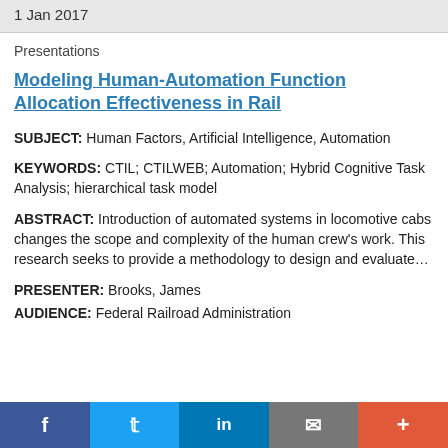1 Jan 2017
Presentations
Modeling Human-Automation Function Allocation Effectiveness in Rail
SUBJECT: Human Factors, Artificial Intelligence, Automation
KEYWORDS: CTIL; CTILWEB; Automation; Hybrid Cognitive Task Analysis; hierarchical task model
ABSTRACT: Introduction of automated systems in locomotive cabs changes the scope and complexity of the human crew's work. This research seeks to provide a methodology to design and evaluate…
PRESENTER: Brooks, James
AUDIENCE: Federal Railroad Administration
f  Twitter  in  mail  +